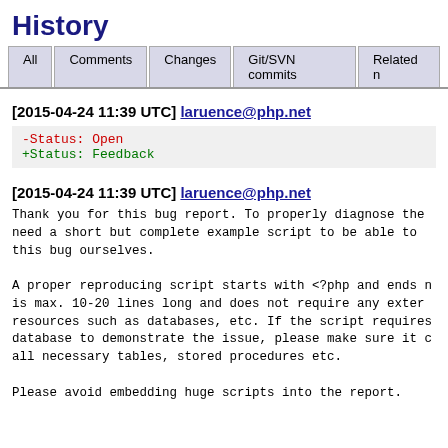History
All | Comments | Changes | Git/SVN commits | Related n
[2015-04-24 11:39 UTC] laruence@php.net
-Status: Open
+Status: Feedback
[2015-04-24 11:39 UTC] laruence@php.net
Thank you for this bug report. To properly diagnose the need a short but complete example script to be able to this bug ourselves.

A proper reproducing script starts with <?php and ends n is max. 10-20 lines long and does not require any exter resources such as databases, etc. If the script requires database to demonstrate the issue, please make sure it c all necessary tables, stored procedures etc.

Please avoid embedding huge scripts into the report.